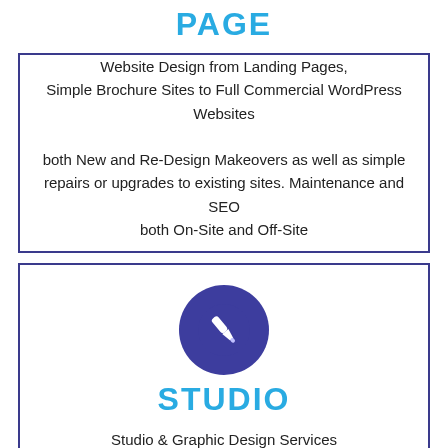PAGE
Website Design from Landing Pages, Simple Brochure Sites to Full Commercial WordPress Websites both New and Re-Design Makeovers as well as simple repairs or upgrades to existing sites. Maintenance and SEO both On-Site and Off-Site
[Figure (illustration): Dark blue circle icon with a white paintbrush/design tool symbol]
STUDIO
Studio & Graphic Design Services
Branding | Logo
Content | Advertising
Online and Offline